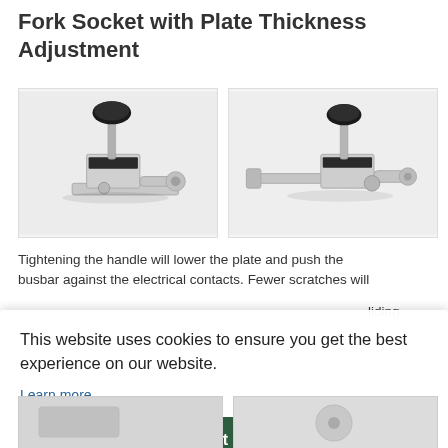Fork Socket with Plate Thickness Adjustment
[Figure (photo): Close-up photo of a fork socket clamp with plate thickness adjustment handle, metallic silver body with black knob on top, viewed from front-left angle.]
[Figure (photo): Close-up photo of a fork socket clamp with plate thickness adjustment, metallic silver body with black knob, viewed from a different angle showing the fork/clamp mechanism.]
Tightening the handle will lower the plate and push the busbar against the electrical contacts. Fewer scratches will
liding
This website uses cookies to ensure you get the best experience on our website.
Learn more
Got it!
[Figure (photo): Partial view of product photo at bottom left.]
[Figure (photo): Partial view of product photo at bottom right.]